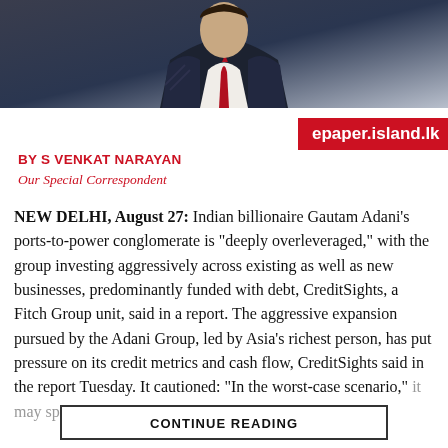[Figure (photo): Photo of a man in a dark suit with a red tie, partially visible from the chest up against a dark background.]
epaper.island.lk
BY S VENKAT NARAYAN
Our Special Correspondent
NEW DELHI, August 27: Indian billionaire Gautam Adani’s ports-to-power conglomerate is “deeply overleveraged,” with the group investing aggressively across existing as well as new businesses, predominantly funded with debt, CreditSights, a Fitch Group unit, said in a report. The aggressive expansion pursued by the Adani Group, led by Asia’s richest person, has put pressure on its credit metrics and cash flow, CreditSights said in the report Tuesday. It cautioned: “In the worst-case scenario,” it may spiral into a debt trap and possibly a default.
CONTINUE READING